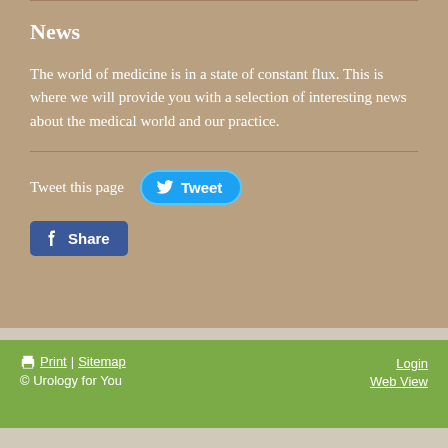News
The world of medicine is in a state of constant flux. This is where we will provide you with a selection of interesting news about the medical world and our practice.
[Figure (other): Tweet this page button with Twitter bird icon and blue rounded Tweet button]
[Figure (other): Facebook Share button with Facebook icon]
Print | Sitemap  Login  © Urology for You  Web View